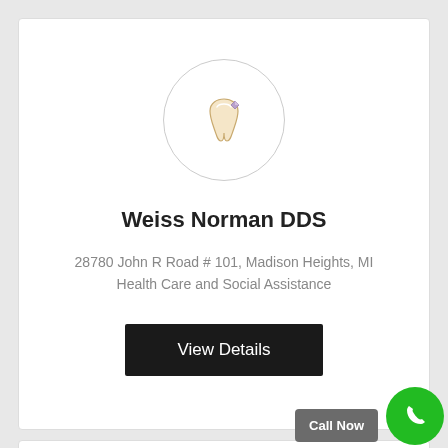[Figure (illustration): Dental tooth icon with a small diamond/gem on it, inside a circular bordered container]
Weiss Norman DDS
28780 John R Road # 101, Madison Heights, MI
Health Care and Social Assistance
View Details
Call Now